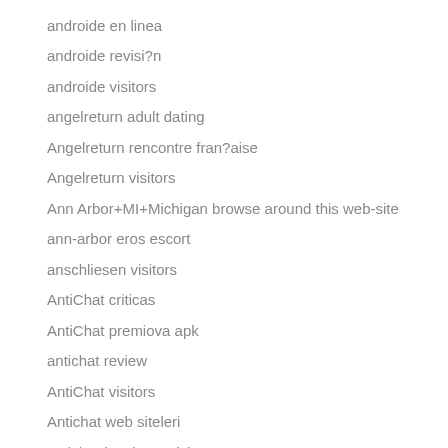androide en linea
androide revisi?n
androide visitors
angelreturn adult dating
Angelreturn rencontre fran?aise
Angelreturn visitors
Ann Arbor+MI+Michigan browse around this web-site
ann-arbor eros escort
anschliesen visitors
AntiChat criticas
AntiChat premiova apk
antichat review
AntiChat visitors
Antichat web siteleri
antichat-inceleme visitors